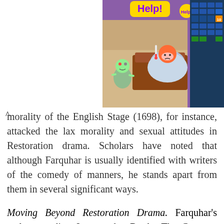[Figure (screenshot): Mobile game advertisement screenshot showing 'Help!' text in yellow on purple background with cartoon characters including a sick person in bed and a zombie, with a game UI grid overlay]
morality of the English Stage (1698), for instance, attacked the lax morality and sexual attitudes in Restoration drama. Scholars have noted that although Farquhar is usually identified with writers of the comedy of manners, he stands apart from them in several significant ways.
Moving Beyond Restoration Drama. Farquhar's early comedies, Love and a Bottle, The Constant Couple, and Sir Harry Wildair are similar to other Restoration dramas in that they are bawdy in tone and tend to focus on sexual intrigue. They also